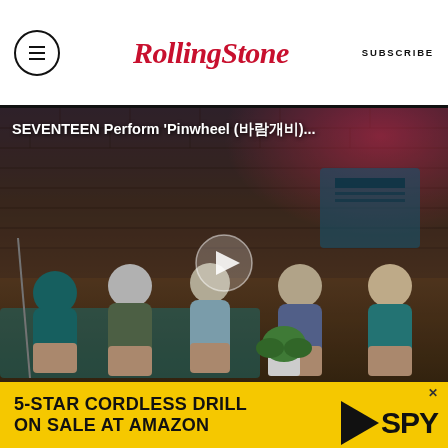RollingStone   SUBSCRIBE
[Figure (screenshot): Video thumbnail showing SEVENTEEN members seated in a studio with brick wall background. Title overlay reads: SEVENTEEN Perform 'Pinwheel (바람개비)...' with a play button in the center.]
By the end of that year, Zeppelin were huge stars, headlining Carnegie Hall, San Francisco's Winterland and the Boston Garden on their fall '69 American tour. That intimate March gig would be their last visit to the Globe on Tremont Club, their i...
[Figure (infographic): Advertisement banner: 5-STAR CORDLESS DRILL ON SALE AT AMAZON with SPY logo on yellow background]